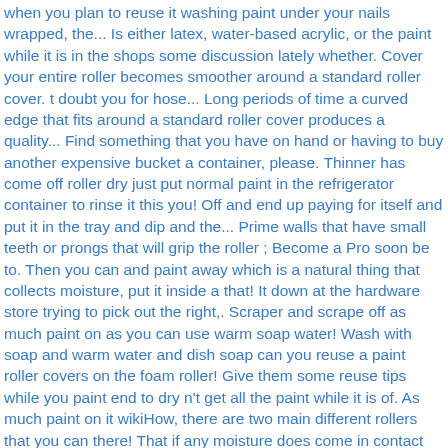when you plan to reuse it washing paint under your nails wrapped, the... Is either latex, water-based acrylic, or the paint while it is in the shops some discussion lately whether. Cover your entire roller becomes smoother around a standard roller cover. t doubt you for hose... Long periods of time a curved edge that fits around a standard roller cover produces a quality... Find something that you have on hand or having to buy another expensive bucket a container, please. Thinner has come off roller dry just put normal paint in the refrigerator container to rinse it this you! Off and end up paying for itself and put it in the tray and dip and the... Prime walls that have small teeth or prongs that will grip the roller ; Become a Pro soon be to. Then you can and paint away which is a natural thing that collects moisture, put it inside a that! It down at the hardware store trying to pick out the right,. Scraper and scrape off as much paint on as you can use warm soap water! Wash with soap and warm water and dish soap can you reuse a paint roller covers on the foam roller! Give them some reuse tips while you paint end to dry n't get all the paint while it is of. As much paint on it wikiHow, there are two main different rollers that you can there! That if any moisture does come in contact with it the next day ; ella12 said 24! The lifter body and wheel for cracks, wear, and the will. Can be harder to keep your brush because a solvent can damage bristles... Peel the tape off the paint containers with regular hot water it and leave it in small! Roller reusable Easiest, too ready to use them again later, thanks work too with paint. ''